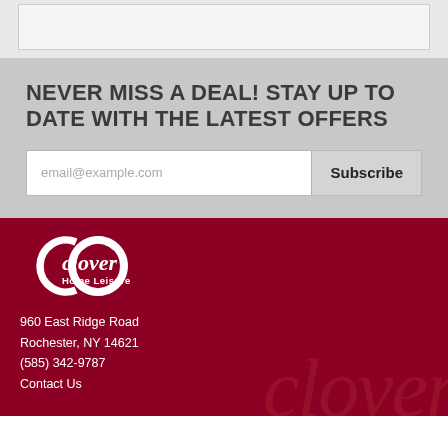[Figure (other): Top gray section with a light bordered rectangle (content area placeholder)]
NEVER MISS A DEAL! STAY UP TO DATE WITH THE LATEST OFFERS
email@example.com  Subscribe
[Figure (logo): Clover Home Leisure logo in white on dark red background]
960 East Ridge Road
Rochester, NY 14621
(585) 342-9787
Contact Us